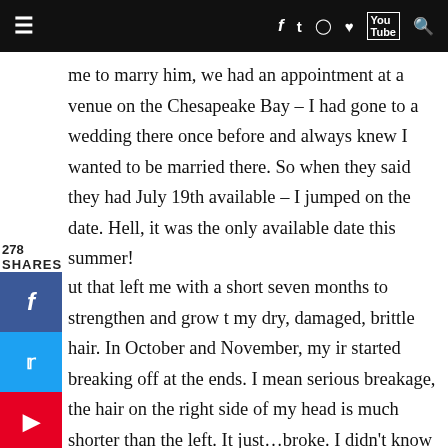≡  f  t  ◎  ♡  You  🔍
me to marry him, we had an appointment at a venue on the Chesapeake Bay – I had gone to a wedding there once before and always knew I wanted to be married there. So when they said they had July 19th available – I jumped on the date. Hell, it was the only available date this summer!
278
SHARES
ut that left me with a short seven months to strengthen and grow t my dry, damaged, brittle hair. In October and November, my ir started breaking off at the ends. I mean serious breakage, the hair on the right side of my head is much shorter than the left. It just…broke. I didn't know why – I was using my organic shampoo and conditioner, but even so, the shampoo was too harsh for my hair, as 99.9% of shampoos are. It stripped my scalp